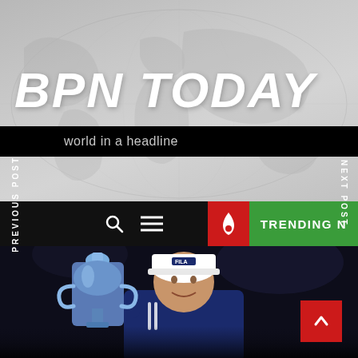[Figure (screenshot): BPN Today news website screenshot showing the header with world map background, brand title 'BPN TODAY', tagline 'world in a headline', navigation bar with search and menu icons, trending now button in red and green, PREVIOUS POST and NEXT POST side labels, and a photo of a tennis player (woman in navy jacket with FILA cap) holding the Australian Open trophy]
BPN TODAY
world in a headline
PREVIOUS POST
NEXT POST
TRENDING N